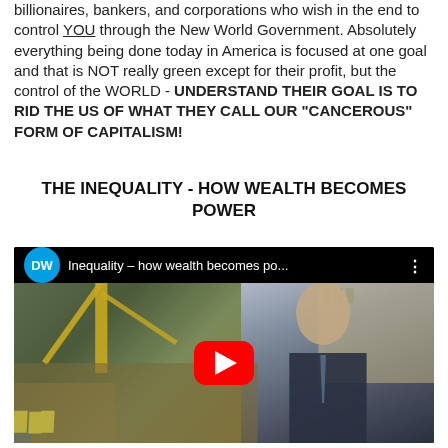billionaires, bankers, and corporations who wish in the end to control YOU through the New World Government. Absolutely everything being done today in America is focused at one goal and that is NOT really green except for their profit, but the control of the WORLD - UNDERSTAND THEIR GOAL IS TO RID THE US OF WHAT THEY CALL OUR "CANCEROUS" FORM OF CAPITALISM!
THE INEQUALITY - HOW WEALTH BECOMES POWER
[Figure (screenshot): YouTube video thumbnail showing a DW documentary titled 'Inequality – how wealth becomes po...' with a construction crane on the left and a man in a suit on the right, with a red YouTube play button in the center.]